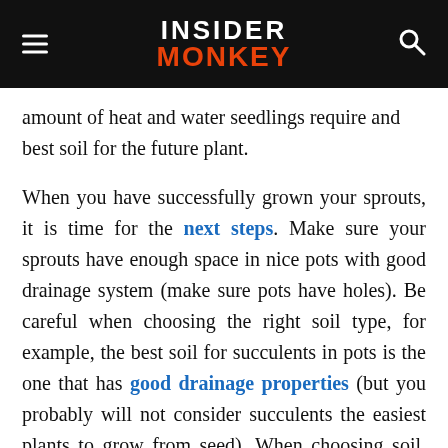INSIDER MONKEY
amount of heat and water seedlings require and best soil for the future plant.
When you have successfully grown your sprouts, it is time for the next steps. Make sure your sprouts have enough space in nice pots with good drainage system (make sure pots have holes). Be careful when choosing the right soil type, for example, the best soil for succulents in pots is the one that has good drainage properties (but you probably will not consider succulents the easiest plants to grow from seed). When choosing soil, get informed on acidity your plants need. Then be careful on the amount of